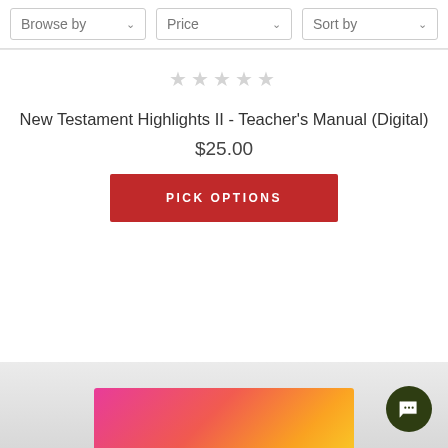[Figure (screenshot): Filter bar with three dropdowns: Browse by, Price, Sort by]
[Figure (other): Five grey star rating icons]
New Testament Highlights II - Teacher's Manual (Digital)
$25.00
PICK OPTIONS
[Figure (photo): Partially visible product image with pink/red/orange cover at bottom of page, with dark green chat button overlay]